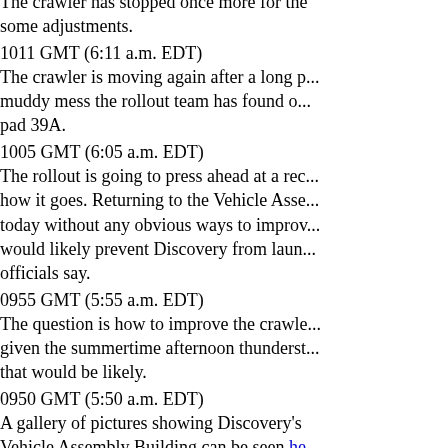The crawler has stopped once more for the some adjustments.
1011 GMT (6:11 a.m. EDT)
The crawler is moving again after a long pause. The muddy mess the rollout team has found on the way to pad 39A.
1005 GMT (6:05 a.m. EDT)
The rollout is going to press ahead at a reduced speed to see how it goes. Returning to the Vehicle Assembly Building today without any obvious ways to improve the situation would likely prevent Discovery from launching, NASA officials say.
0955 GMT (5:55 a.m. EDT)
The question is how to improve the crawler's traction given the summertime afternoon thunderstorms that would be likely.
0950 GMT (5:50 a.m. EDT)
A gallery of pictures showing Discovery's rollout from the Vehicle Assembly Building can be seen here.
0945 GMT (5:45 a.m. EDT)
The concern with continuing toward the pad is mud getting into the moving parts of the crawler. Conditions onward to the pad don't look much better. Workers have reported their shoes completely sinking in.
0935 GMT (5:35 a.m. EDT)
The rollout team is recommending the sm...